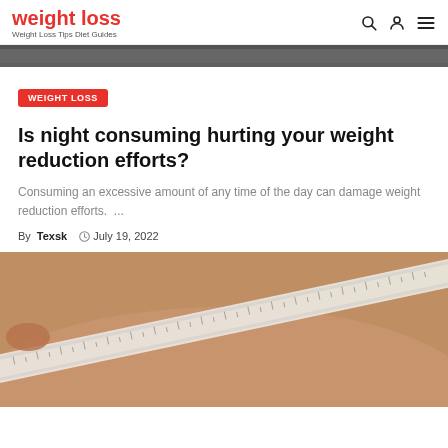weight loss — Weight Loss Tips Diet Guides
[Figure (photo): Top cropped photo strip, dark background image]
WEIGHT LOSS
Is night consuming hurting your weight reduction efforts?
Consuming an excessive amount of any time of the day can damage weight reduction efforts. ...
By Texsk  July 19, 2022
[Figure (photo): Close-up photo of a person measuring their waist with a white measuring tape]